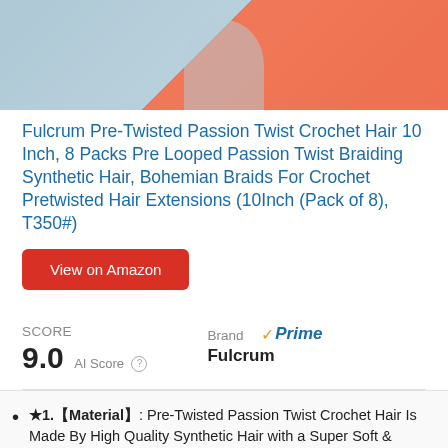[Figure (photo): Product photo showing a person wearing a gray and orange color-block top with a circular pendant necklace]
Fulcrum Pre-Twisted Passion Twist Crochet Hair 10 Inch, 8 Packs Pre Looped Passion Twist Braiding Synthetic Hair, Bohemian Braids For Crochet Pretwisted Hair Extensions (10Inch (Pack of 8), T350#)
View on Amazon
SCORE
9.0 AI Score
Brand
Fulcrum
Prime
★1.【Material】: Pre-Twisted Passion Twist Crochet Hair Is Made By High Quality Synthetic Hair with a Super Soft & Fluffy Hair Texture, That is Washable and Reusable, Pre-Twisted by Professional